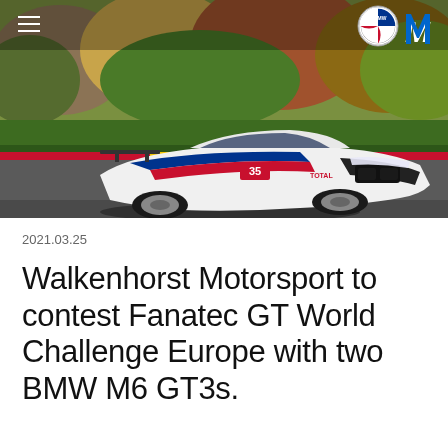[Figure (photo): BMW M6 GT3 racing car #35 with BMW M Motorsport livery (white, blue, red) on a race track, trees with autumn foliage in background. BMW and M logos visible in top right corner. Hamburger menu icon in top left.]
2021.03.25
Walkenhorst Motorsport to contest Fanatec GT World Challenge Europe with two BMW M6 GT3s.